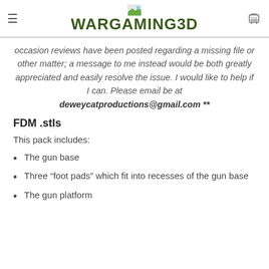WARGAMING3D
occasion reviews have been posted regarding a missing file or other matter; a message to me instead would be both greatly appreciated and easily resolve the issue. I would like to help if I can. Please email be at deweycatproductions@gmail.com **
FDM .stls
This pack includes:
The gun base
Three “foot pads” which fit into recesses of the gun base
The gun platform